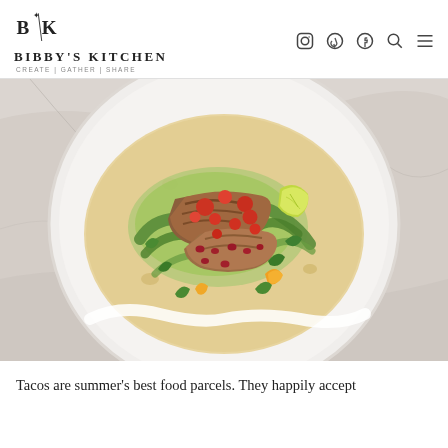BIBBY'S KITCHEN | CREATE | GATHER | SHARE
[Figure (photo): Overhead shot of a chicken taco on a flour tortilla on a white marble plate, topped with colorful salsa, fresh herbs, pomegranate seeds, mango, and a lime wedge, set on a marble surface.]
Tacos are summer's best food parcels. They happily accept almost any filling, from simple to extravagant.